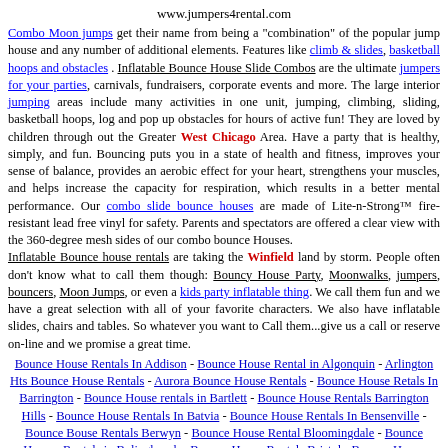www.jumpers4rental.com
Combo Moon jumps get their name from being a "combination" of the popular jump house and any number of additional elements. Features like climb & slides, basketball hoops and obstacles . Inflatable Bounce House Slide Combos are the ultimate jumpers for your parties, carnivals, fundraisers, corporate events and more. The large interior jumping areas include many activities in one unit, jumping, climbing, sliding, basketball hoops, log and pop up obstacles for hours of active fun! They are loved by children through out the Greater West Chicago Area. Have a party that is healthy, simply, and fun. Bouncing puts you in a state of health and fitness, improves your sense of balance, provides an aerobic effect for your heart, strengthens your muscles, and helps increase the capacity for respiration, which results in a better mental performance. Our combo slide bounce houses are made of Lite-n-Strong™ fire-resistant lead free vinyl for safety. Parents and spectators are offered a clear view with the 360-degree mesh sides of our combo bounce Houses. Inflatable Bounce house rentals are taking the Winfield land by storm. People often don't know what to call them though: Bouncy House Party, Moonwalks, jumpers, bouncers, Moon Jumps, or even a kids party inflatable thing. We call them fun and we have a great selection with all of your favorite characters. We also have inflatable slides, chairs and tables. So whatever you want to Call them...give us a call or reserve on-line and we promise a great time.
Bounce House Rentals In Addison - Bounce House Rental in Algonquin - Arlington Hts Bounce House Rentals - Aurora Bounce House Rentals - Bounce House Retals In Barrington - Bounce House rentals in Bartlett - Bounce House Rentals Barrington Hills - Bounce House Rentals In Batvia - Bounce House Rentals In Bensenville - Bounce Bouse Rentals Berwyn - Bounce House Rental Bloomingdale - Bounce Houses Rentals in Bolingbrook - Bounce House Rentals Bristol - Bounce Houes Rentals In Brookfield - Bounce House Rental in Burr Ridge Bounce House Rentals in Carol Stream Bounce House Rentals in Carpentersville Bounce House Rentals